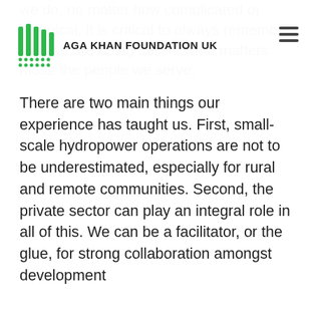AGA KHAN FOUNDATION UK
There are two main things our experience has taught us. First, small-scale hydropower operations are not to be underestimated, especially for rural and remote communities. Second, the private sector can play an integral role in all of this. We can be a facilitator, or the glue, for strong collaboration amongst development
This site uses cookies to store information on your computer. Some are essential to make our site work; others help us improve the user experience. By using the site, you consent to the placement of these cookies. Read our Privacy Policy to learn more.
Got it!